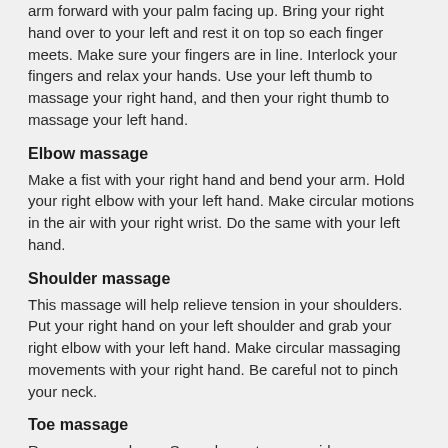arm forward with your palm facing up. Bring your right hand over to your left and rest it on top so each finger meets. Make sure your fingers are in line. Interlock your fingers and relax your hands. Use your left thumb to massage your right hand, and then your right thumb to massage your left hand.
Elbow massage
Make a fist with your right hand and bend your arm. Hold your right elbow with your left hand. Make circular motions in the air with your right wrist. Do the same with your left hand.
Shoulder massage
This massage will help relieve tension in your shoulders. Put your right hand on your left shoulder and grab your right elbow with your left hand. Make circular massaging movements with your right hand. Be careful not to pinch your neck.
Toe massage
Remove your shoes. Spread your toes as wide as possible. Imagine you are picking up sand with your toes at the beach, and contract them. Repeat this exercise five times.